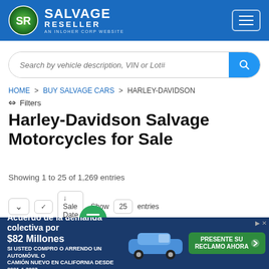[Figure (logo): Salvage Reseller logo with SR circle emblem and text 'SALVAGE RESELLER AN INLOHER CORP WEBSITE' on blue header]
[Figure (screenshot): Search bar with placeholder 'Search by vehicle description, VIN or Lot#' and blue search button]
HOME > BUY SALVAGE CARS > HARLEY-DAVIDSON
Filters
Harley-Davidson Salvage Motorcycles for Sale
Showing 1 to 25 of 1,269 entries
↓  ↓  El Sale Date  Show  25  entries
[Figure (infographic): Advertisement banner: 'Acuerdo de la demanda colectiva por $82 Millones SI USTED COMPRO O ARRENDO UN AUTOMÓVIL O CAMIÓN NUEVO EN CALIFORNIA DESDE 2001 A 2003' with car image and 'PRESENTE SU RECLAMO AHORA' button]